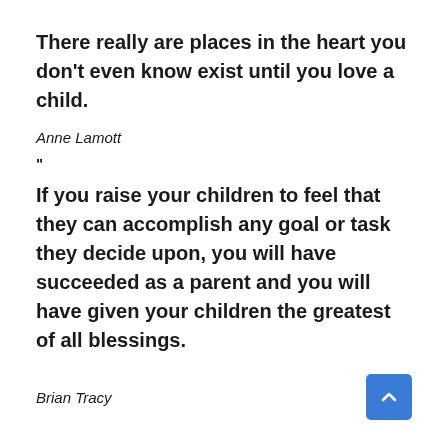There really are places in the heart you don't even know exist until you love a child.
Anne Lamott
"
If you raise your children to feel that they can accomplish any goal or task they decide upon, you will have succeeded as a parent and you will have given your children the greatest of all blessings.
Brian Tracy